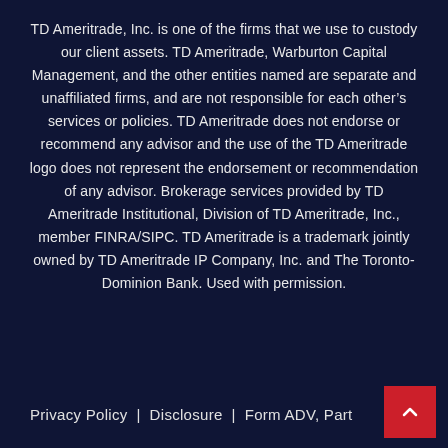TD Ameritrade, Inc. is one of the firms that we use to custody our client assets. TD Ameritrade, Warburton Capital Management, and the other entities named are separate and unaffiliated firms, and are not responsible for each other's services or policies. TD Ameritrade does not endorse or recommend any advisor and the use of the TD Ameritrade logo does not represent the endorsement or recommendation of any advisor. Brokerage services provided by TD Ameritrade Institutional, Division of TD Ameritrade, Inc., member FINRA/SIPC. TD Ameritrade is a trademark jointly owned by TD Ameritrade IP Company, Inc. and The Toronto-Dominion Bank. Used with permission.
Privacy Policy  |  Disclosure  |  Form ADV, Part